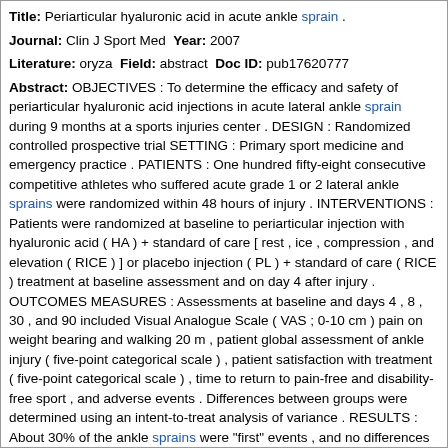Title: Periarticular hyaluronic acid in acute ankle sprain .
Journal: Clin J Sport Med Year: 2007
Literature: oryza Field: abstract Doc ID: pub17620777
Abstract: OBJECTIVES : To determine the efficacy and safety of periarticular hyaluronic acid injections in acute lateral ankle sprain during 9 months at a sports injuries center . DESIGN : Randomized controlled prospective trial SETTING : Primary sport medicine and emergency practice . PATIENTS : One hundred fifty-eight consecutive competitive athletes who suffered acute grade 1 or 2 lateral ankle sprains were randomized within 48 hours of injury . INTERVENTIONS : Patients were randomized at baseline to periarticular injection with hyaluronic acid ( HA ) + standard of care [ rest , ice , compression , and elevation ( RICE ) ] or placebo injection ( PL ) + standard of care ( RICE ) treatment at baseline assessment and on day 4 after injury . OUTCOMES MEASURES : Assessments at baseline and days 4 , 8 , 30 , and 90 included Visual Analogue Scale ( VAS ; 0-10 cm ) pain on weight bearing and walking 20 m , patient global assessment of ankle injury ( five-point categorical scale ) , patient satisfaction with treatment ( five-point categorical scale ) , time to return to pain-free and disability-free sport , and adverse events . Differences between groups were determined using an intent-to-treat analysis of variance . RESULTS : About 30% of the ankle sprains were "first" events , and no differences in clinical assessments with those presenting but not volunteering for the study ( n = 341 ) were observed . Time to intervention was 39 +/- 4 hours , with no difference between groups . No serious adverse events were recorded during the 8-day treatment period . No difference in concomitant treatment or physical therapy was observed between groups . A significant reduction in VAS pain on both weight bearing and walking was observed at day 8 for HA compared with PL ( P < .05 ) . Significantly greater patient satisfaction